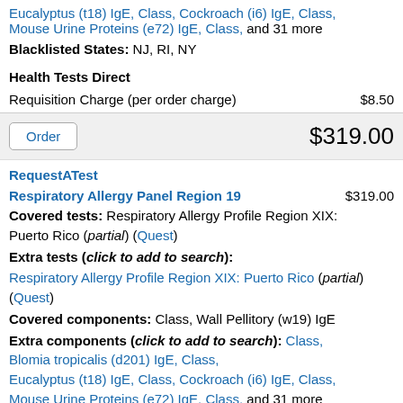Eucalyptus (t18) IgE, Class, Cockroach (i6) IgE, Class, Mouse Urine Proteins (e72) IgE, Class, and 31 more
Blacklisted States: NJ, RI, NY
Health Tests Direct
Requisition Charge (per order charge)   $8.50
Order   $319.00
RequestATest
Respiratory Allergy Panel Region 19   $319.00
Covered tests: Respiratory Allergy Profile Region XIX: Puerto Rico (partial) (Quest)
Extra tests (click to add to search):
Respiratory Allergy Profile Region XIX: Puerto Rico (partial) (Quest)
Covered components: Class, Wall Pellitory (w19) IgE
Extra components (click to add to search): Class, Blomia tropicalis (d201) IgE, Class, Eucalyptus (t18) IgE, Class, Cockroach (i6) IgE, Class, Mouse Urine Proteins (e72) IgE, Class, and 31 more